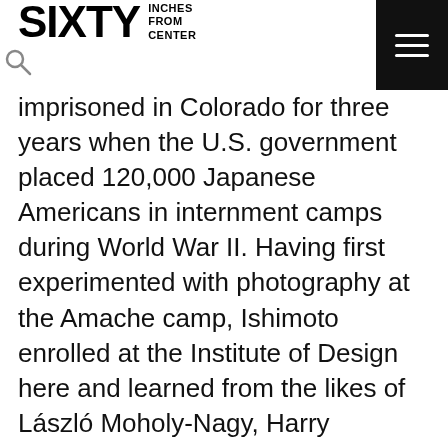SIXTY INCHES FROM CENTER
imprisoned in Colorado for three years when the U.S. government placed 120,000 Japanese Americans in internment camps during World War II. Having first experimented with photography at the Amache camp, Ishimoto enrolled at the Institute of Design here and learned from the likes of László Moholy-Nagy, Harry Callahan, and others, who encouraged him to use photography to document the city.
Immersing himself among marginalized communities in Chicago, Ishimoto witnessed the effects of racial segregation, which he